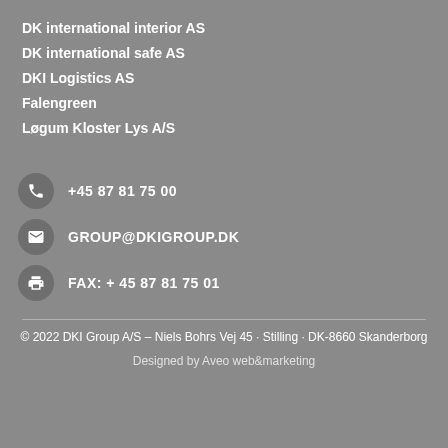DK international interior AS
DK international safe AS
DKI Logistics AS
Falengreen
Løgum Kloster Lys A/S
+45 87 81 75 00
GROUP@DKIGROUP.DK
FAX: + 45 87 81 75 01
© 2022 DKI Group A/S – Niels Bohrs Vej 45 · Stilling · DK-8660 Skanderborg
Designed by Aveo web&marketing